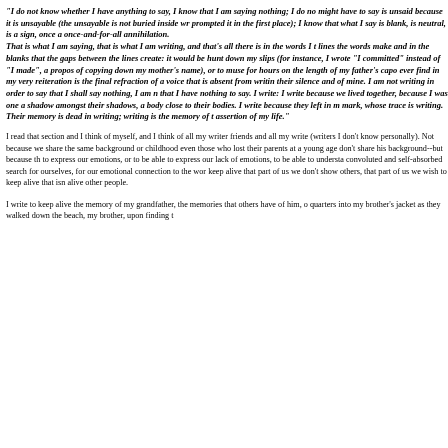"I do not know whether I have anything to say, I know that I am saying nothing; I do not know if what I might have to say is unsaid because it is unsayable (the unsayable is not buried inside writing, it is what prompted it in the first place); I know that what I say is blank, is neutral, is a sign, once and for all, of a once-and-for-all annihilation. That is what I am saying, that is what I am writing, and that's all there is in the words I trace, and in the lines the words make and in the blanks that the gaps between the lines create: it would be futile for me to hunt down my slips (for instance, I wrote "I committed" instead of "I made", a propos of the error I made in copying down my mother's name), or to muse for hours on the length of my father's cap... what I shall ever find in my very reiteration is the final refraction of a voice that is absent from writing, the memory of their silence and of mine. I am not writing in order to say that I shall say nothing, I am not writing to say that I have nothing to say. I write: I write because we lived together, because I was one among them, a shadow amongst their shadows, a body close to their bodies. I write because they left in me their indelible mark, whose trace is writing. Their memory is dead in writing; writing is the memory of their death and the assertion of my life."
I read that section and I think of myself, and I think of all my writer friends and all my writer heroes (writers I don't know personally). Not because we share the same background or childhood or losses-- even those who lost their parents at a young age don't share his background--but because the desire to express our emotions, or to be able to express our lack of emotions, to be able to understand our convoluted and self-absorbed search for ourselves, for our emotional connection to the world, or to keep alive that part of us we don't show others, that part of us we wish to keep alive that isn't kept alive other people.
I write to keep alive the memory of my grandfather, the memories that others have of him, of slipping quarters into my brother's jacket as they walked down the beach, my brother, upon finding